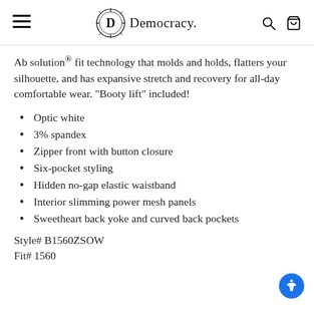Democracy.
Ab solution® fit technology that molds and holds, flatters your silhouette, and has expansive stretch and recovery for all-day comfortable wear. "Booty lift" included!
Optic white
3% spandex
Zipper front with button closure
Six-pocket styling
Hidden no-gap elastic waistband
Interior slimming power mesh panels
Sweetheart back yoke and curved back pockets
Style# B1560ZSOW
Fit# 1560